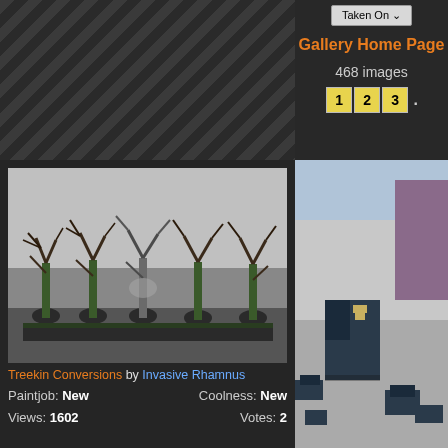Taken On
Gallery Home Page
468 images
1  2  3  .
[Figure (photo): Photo of five Treekin Conversions miniatures on black bases, painted green-brown with bare branch tops, displayed in a row against a light background]
Treekin Conversions by Invasive Rhamnus
Paintjob: New   Coolness: New
Views: 1602   Votes: 2
[Figure (photo): Photo of dark blue/grey angular terrain pieces (ruins/buildings) on a grey carpet floor, with purple fabric visible in background]